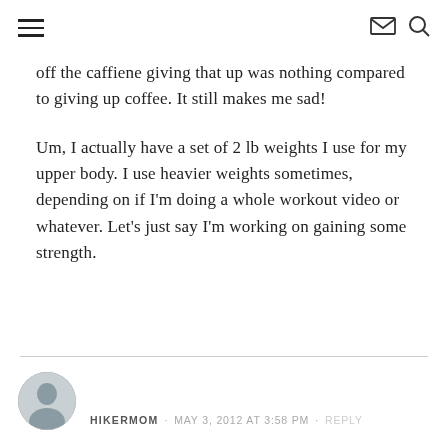navigation header with hamburger menu, envelope icon, search icon
off the caffiene giving that up was nothing compared to giving up coffee. It still makes me sad!
Um, I actually have a set of 2 lb weights I use for my upper body. I use heavier weights sometimes, depending on if I'm doing a whole workout video or whatever. Let's just say I'm working on gaining some strength.
HIKERMOM · MAY 3, 2012 AT 3:58 PM · REPLY